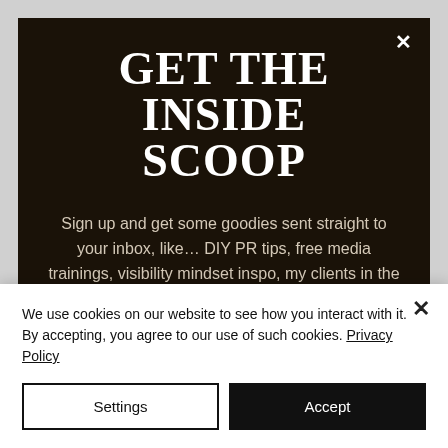GET THE INSIDE SCOOP
Sign up and get some goodies sent straight to your inbox, like… DIY PR tips, free media trainings, visibility mindset inspo, my clients in the media, & personal life updates. :)
First name
We use cookies on our website to see how you interact with it. By accepting, you agree to our use of such cookies. Privacy Policy
Settings
Accept